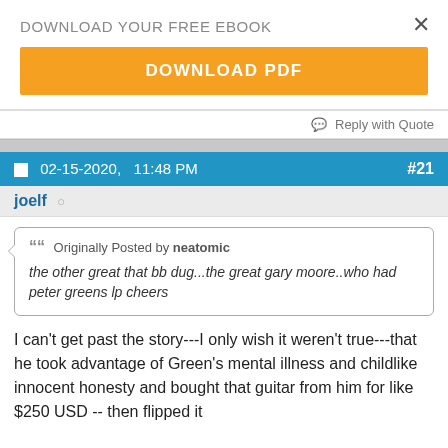DOWNLOAD YOUR FREE EBOOK
DOWNLOAD PDF
Reply with Quote
02-15-2020,  11:48 PM   #21
joelf
Originally Posted by neatomic
the other great that bb dug...the great gary moore..who had peter greens lp cheers
I can't get past the story---I only wish it weren't true---that he took advantage of Green's mental illness and childlike innocent honesty and bought that guitar from him for like $250 USD -- then flipped it